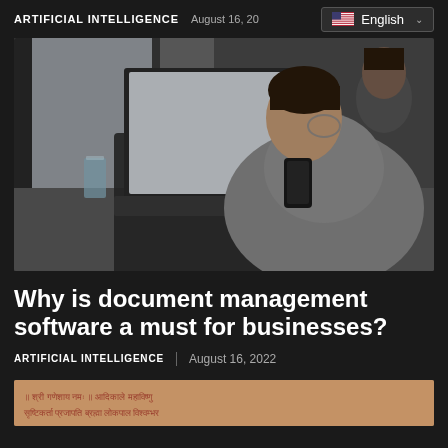ARTIFICIAL INTELLIGENCE | August 16, 20 | English
[Figure (photo): Man sitting at a cafe table viewed from behind, using a laptop and holding a smartphone. Another person is visible in the blurred background.]
Why is document management software a must for businesses?
ARTIFICIAL INTELLIGENCE | August 16, 2022
[Figure (photo): Bottom partial image showing what appears to be an ancient manuscript or document with reddish text.]